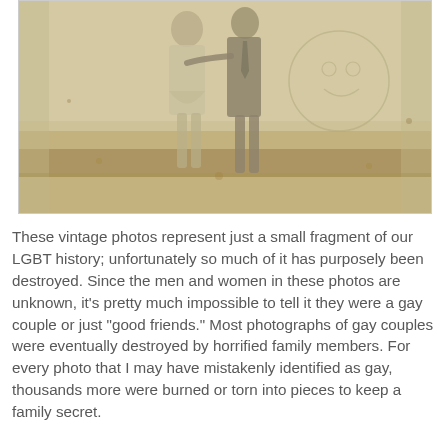[Figure (photo): A vintage sepia-toned photograph showing two people standing together, possibly a couple. The image is aged with brown staining and discoloration. A decorative or painted backdrop is visible behind them. The photo has a yellowed, deteriorated appearance consistent with early 20th century photography.]
These vintage photos represent just a small fragment of our LGBT history; unfortunately so much of it has purposely been destroyed. Since the men and women in these photos are unknown, it's pretty much impossible to tell it they were a gay couple or just "good friends." Most photographs of gay couples were eventually destroyed by horrified family members. For every photo that I may have mistakenly identified as gay, thousands more were burned or torn into pieces to keep a family secret.